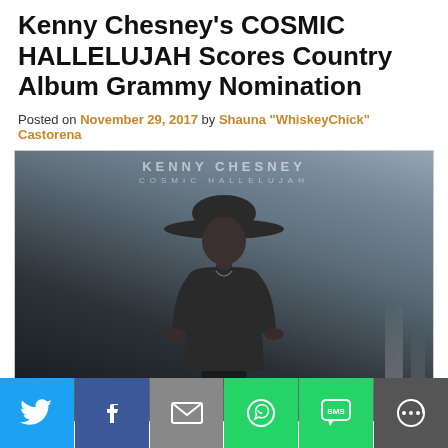Kenny Chesney's COSMIC HALLELUJAH Scores Country Album Grammy Nomination
Posted on November 29, 2017 by Shauna "WhiskeyChick" Castorena
[Figure (photo): Black and white album cover photo for Kenny Chesney's COSMIC HALLELUJAH, showing a man in a wide-brimmed hat and t-shirt standing with hands on hips, with a city street background. Text at top reads KENNY CHESNEY / COSMIC HALLELUJAH.]
[Figure (infographic): Social media share bar with buttons: Twitter (blue bird icon), Facebook (blue f icon), Email (grey envelope icon), WhatsApp (green chat icon), SMS (green SMS bubble icon), More (grey circular icon)]